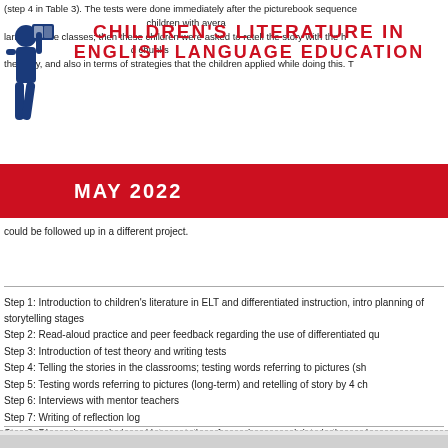(step 4 in Table 3). The tests were done immediately after the picturebook sequence could be followed up in a different project.
CHILDREN'S LITERATURE IN ENGLISH LANGUAGE EDUCATION
MAY 2022
could be followed up in a different project.
Step 1: Introduction to children's literature in ELT and differentiated instruction, intro planning of storytelling stages
Step 2: Read-aloud practice and peer feedback regarding the use of differentiated qu
Step 3: Introduction of test theory and writing tests
Step 4: Telling the stories in the classrooms; testing words referring to pictures (sh
Step 5: Testing words referring to pictures (long-term) and retelling of story by 4 ch
Step 6: Interviews with mentor teachers
Step 7: Writing of reflection log
Step 8: Discussion, analysis and interpretation of experiences and data in the modu